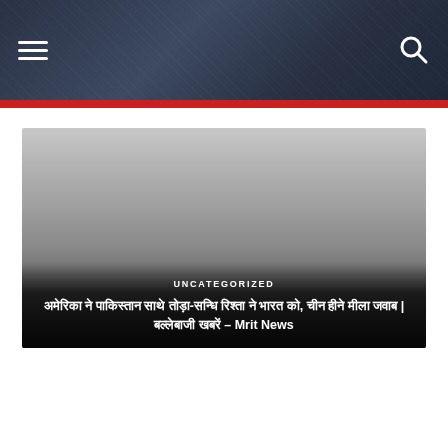[Figure (photo): Article card with dark gradient overlay showing category label UNCATEGORIZED and Hindi/Devanagari article title with Mrit News branding]
UNCATEGORIZED
░░░░░░░░░░ ░░ ░░░░░░ ░░░░ ░░░░░░-░░░░░░ ░░░░░░░░ ░░ ░░░░░ ░░, ░░░░ ░░░░░ ░░░░░░░░ | ░░░░░░░ ░░░░░░ – Mrit News